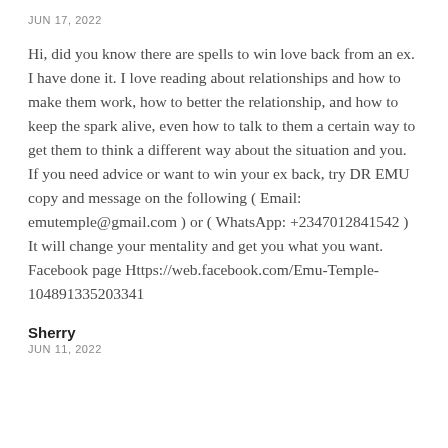JUN 17, 2022
Hi, did you know there are spells to win love back from an ex. I have done it. I love reading about relationships and how to make them work, how to better the relationship, and how to keep the spark alive, even how to talk to them a certain way to get them to think a different way about the situation and you. If you need advice or want to win your ex back, try DR EMU copy and message on the following ( Email: emutemple@gmail.com ) or ( WhatsApp: +2347012841542 ) It will change your mentality and get you what you want. Facebook page Https://web.facebook.com/Emu-Temple-104891335203341
Sherry
JUN 11, 2022